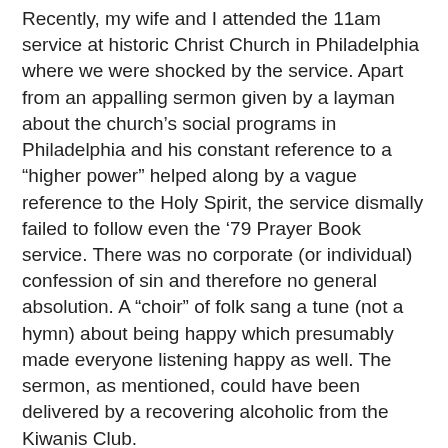Recently, my wife and I attended the 11am service at historic Christ Church in Philadelphia where we were shocked by the service. Apart from an appalling sermon given by a layman about the church's social programs in Philadelphia and his constant reference to a “higher power” helped along by a vague reference to the Holy Spirit, the service dismally failed to follow even the ’79 Prayer Book service. There was no corporate (or individual) confession of sin and therefore no general absolution. A “choir” of folk sang a tune (not a hymn) about being happy which presumably made everyone listening happy as well. The sermon, as mentioned, could have been delivered by a recovering alcoholic from the Kiwanis Club.
Further symptomatic signs of America's moral decline might also be seen in the recent random shooting by a deranged young white male in Santa Barbara, California.
While his “manifesto” was little more than the rant of a spoilt young man who couldn’t find a girlfriend other far more disturbing self-disclosing features revealed that he had been traumatized by his first encounter with pornography at the age of 11. A number of reports have also revealed that he had